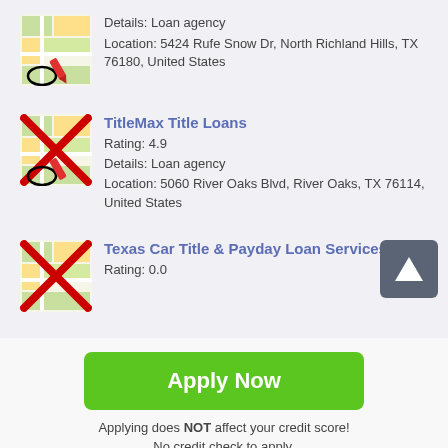[Figure (other): Map icon thumbnail for first loan agency listing]
Details: Loan agency
Location: 5424 Rufe Snow Dr, North Richland Hills, TX 76180, United States
[Figure (other): Map icon thumbnail with red X for TitleMax Title Loans]
TitleMax Title Loans
Rating: 4.9
Details: Loan agency
Location: 5060 River Oaks Blvd, River Oaks, TX 76114, United States
[Figure (other): Map icon thumbnail with red X for Texas Car Title & Payday Loan Services]
Texas Car Title & Payday Loan Services,
Rating: 0.0
Apply Now
Applying does NOT affect your credit score!
No credit check to apply.